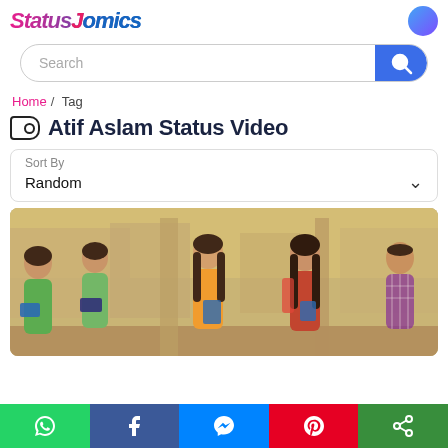StatusJamics / [logo]
Search
Home / Tag
Atif Aslam Status Video
Sort By
Random
[Figure (photo): Group of young people (students) standing and talking outdoors near a wall, carrying books, in a music video scene style]
WhatsApp | Facebook | Messenger | Pinterest | Share